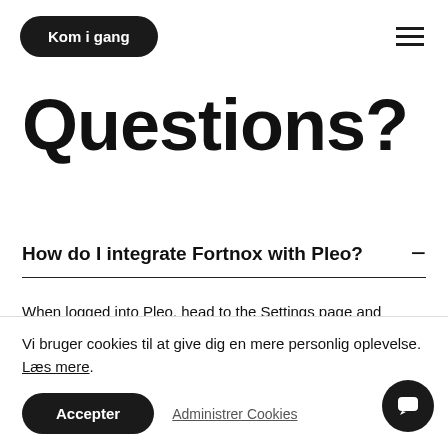Kom i gang
Questions?
How do I integrate Fortnox with Pleo?
When logged into Pleo, head to the Settings page and choose Fortnox from the Accounting list. Follow the onscreen instructions to get your API integration code in Fortnox and [partially obscured] roblem.
Vi bruger cookies til at give dig en mere personlig oplevelse. Læs mere.
Accepter
Administrer Cookies